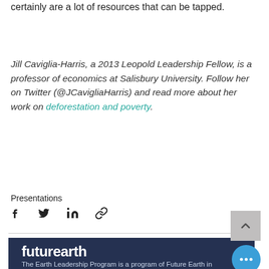certainly are a lot of resources that can be tapped.
Jill Caviglia-Harris, a 2013 Leopold Leadership Fellow, is a professor of economics at Salisbury University. Follow her on Twitter (@JCavigliaHarris) and read more about her work on deforestation and poverty.
Presentations
[Figure (infographic): Social sharing icons: Facebook, Twitter, LinkedIn, and a link/chain icon]
[Figure (logo): Future Earth logo with tagline: The Earth Leadership Program is a program of Future Earth in...]
[Figure (other): Back to top arrow button (gray box with upward chevron) and blue circle chat bubble with three dots]